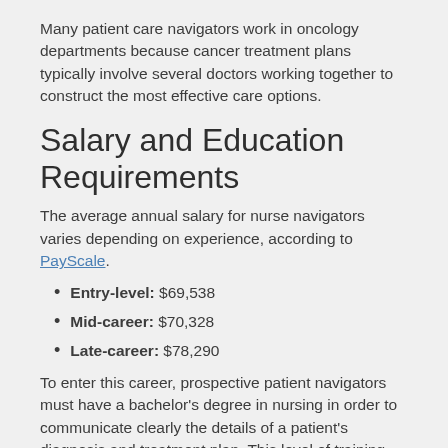Many patient care navigators work in oncology departments because cancer treatment plans typically involve several doctors working together to construct the most effective care options.
Salary and Education Requirements
The average annual salary for nurse navigators varies depending on experience, according to PayScale.
Entry-level: $69,538
Mid-career: $70,328
Late-career: $78,290
To enter this career, prospective patient navigators must have a bachelor's degree in nursing in order to communicate clearly the details of a patient's diagnosis and treatment plan. This level of training and education ensures nurse navigators know how to best support patients.